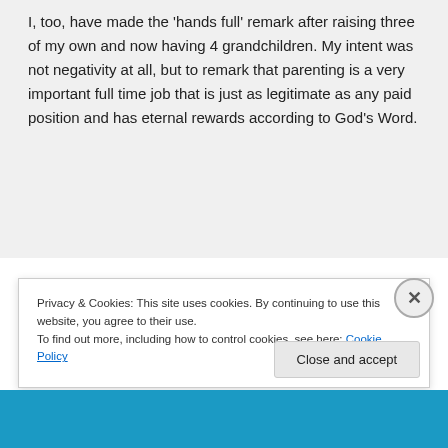I, too, have made the 'hands full' remark after raising three of my own and now having 4 grandchildren. My intent was not negativity at all, but to remark that parenting is a very important full time job that is just as legitimate as any paid position and has eternal rewards according to God's Word.
Privacy & Cookies: This site uses cookies. By continuing to use this website, you agree to their use.
To find out more, including how to control cookies, see here: Cookie Policy
Close and accept